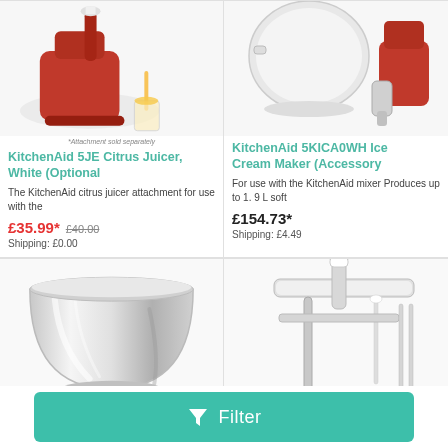[Figure (photo): Red KitchenAid stand mixer with citrus juicer attachment pouring orange juice into a glass]
[Figure (photo): KitchenAid ice cream maker bowl accessory and red mixer with grinder attachment]
*Attachment sold separately
KitchenAid 5JE Citrus Juicer, White (Optional
The KitchenAid citrus juicer attachment for use with the
£35.99*  £40.00
Shipping: £0.00
KitchenAid 5KICA0WH Ice Cream Maker (Accessory
For use with the KitchenAid mixer Produces up to 1. 9 L soft
£154.73*
Shipping: £4.49
[Figure (photo): Stainless steel mixing bowl for KitchenAid mixer]
[Figure (photo): KitchenAid sausage stuffer attachment with white plunger and chrome tray and rods]